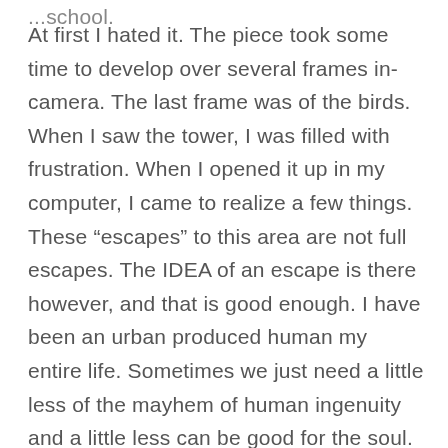At first I hated it. The piece took some time to develop over several frames in-camera. The last frame was of the birds. When I saw the tower, I was filled with frustration. When I opened it up in my computer, I came to realize a few things. These “escapes” to this area are not full escapes. The IDEA of an escape is there however, and that is good enough. I have been an urban produced human my entire life. Sometimes we just need a little less of the mayhem of human ingenuity and a little less can be good for the soul.